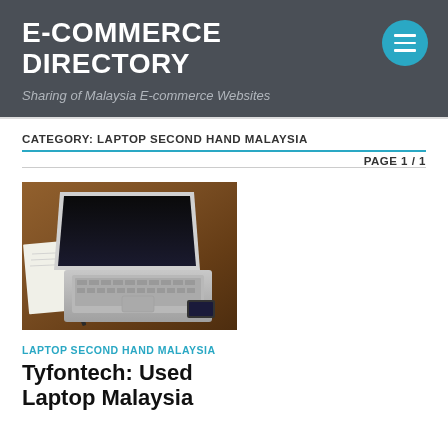E-COMMERCE DIRECTORY
Sharing of Malaysia E-commerce Websites
CATEGORY: LAPTOP SECOND HAND MALAYSIA
PAGE 1 / 1
[Figure (photo): A laptop open on a wooden desk with a notebook and pen, viewed from a slight angle.]
LAPTOP SECOND HAND MALAYSIA
Tyfontech: Used Laptop Malaysia